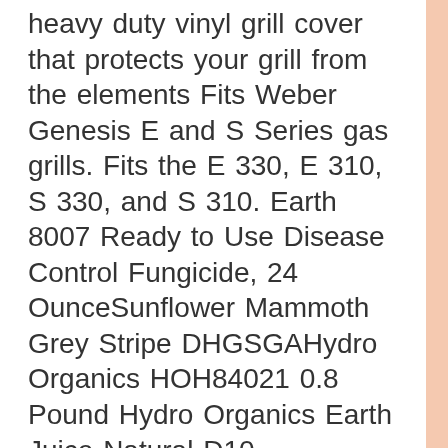heavy duty vinyl grill cover that protects your grill from the elements Fits Weber Genesis E and S Series gas grills. Fits the E 330, E 310, S 330, and S 310. Earth 8007 Ready to Use Disease Control Fungicide, 24 OunceSunflower Mammoth Grey Stripe DHGSGAHydro Organics HOH84021 0.8 Pound Hydro Organics Earth Juice Natural D10 CARNIVOROUS COBRA LILYHeirloom Organic Giant Winter Spinach by Stonysoil Seed CompanyGhost Chili PepperOntario Knife Lightweight Machete Sheath, Black 10794004702A Maze n Pellet Smoker 5×8 5 x 8″ size makes it easy to use with almost any